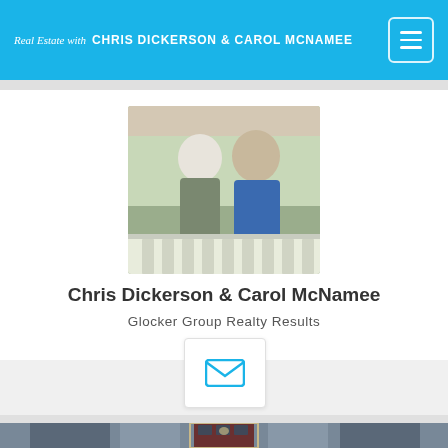Real Estate with CHRIS DICKERSON & CAROL MCNAMEE
[Figure (photo): Profile photo of Chris Dickerson and Carol McNamee standing on a porch]
Chris Dickerson & Carol McNamee
Glocker Group Realty Results
[Figure (illustration): Email contact icon button]
[Figure (photo): Exterior photo of a house front door with red door and glass panels]